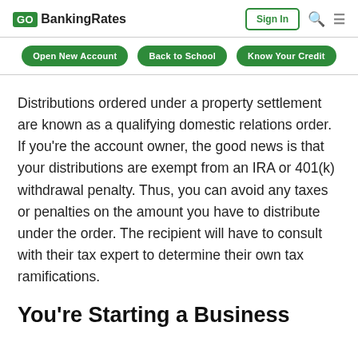GO BankingRates | Sign In
Open New Account | Back to School | Know Your Credit
Distributions ordered under a property settlement are known as a qualifying domestic relations order. If you’re the account owner, the good news is that your distributions are exempt from an IRA or 401(k) withdrawal penalty. Thus, you can avoid any taxes or penalties on the amount you have to distribute under the order. The recipient will have to consult with their tax expert to determine their own tax ramifications.
You’re Starting a Business